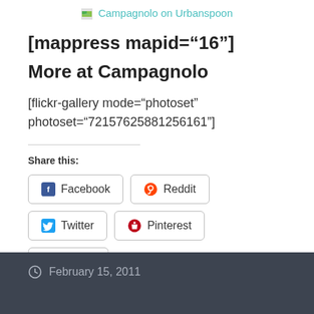[Figure (screenshot): Campagnolo on Urbanspoon link with image icon]
[mappress mapid="16"]
More at Campagnolo
[flickr-gallery mode="photoset" photoset="72157625881256161"]
Share this:
Facebook  Reddit  Twitter  Pinterest  Tumblr
February 15, 2011